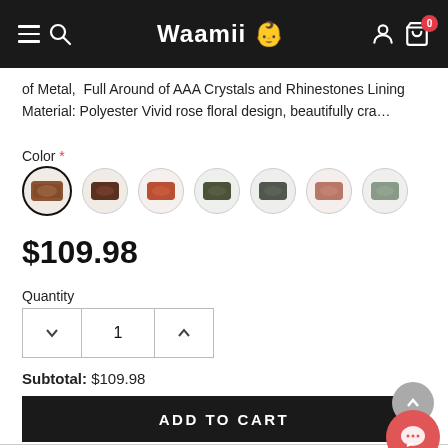Waamii (logo) — navigation header with menu, search, user, and cart (0 items)
of Metal, Full Around of AAA Crystals and Rhinestones Lining Material: Polyester Vivid rose floral design, beautifully cra…
Color *
[Figure (illustration): Seven circular color swatches showing different colored crystal/rhinestone hair accessories. First swatch (brown/red) is selected with a bold border.]
$109.98
Quantity
Subtotal:  $109.98
ADD TO CART
ADD TO WISH LIST